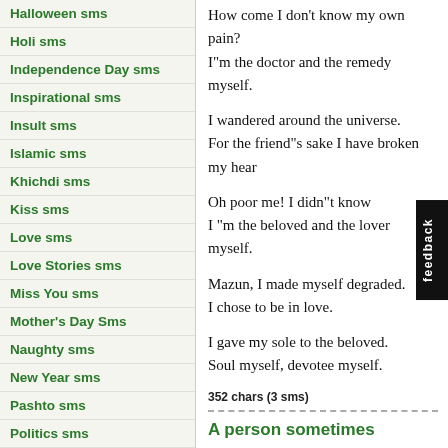Halloween sms
Holi sms
Independence Day sms
Inspirational sms
Insult sms
Islamic sms
Khichdi sms
Kiss sms
Love sms
Love Stories sms
Miss You sms
Mother's Day Sms
Naughty sms
New Year sms
Pashto sms
Politics sms
Punjabi sms
Q n A sms
How come I don't know my own pain?
I"m the doctor and the remedy myself.

I wandered around the universe.
For the friend"s sake I have broken my heart.

Oh poor me! I didn"t know
I "m the beloved and the lover myself.

Mazun, I made myself degraded.
I chose to be in love.

I gave my sole to the beloved.
Soul myself, devotee myself.
352 chars (3 sms)
A person sometimes
A person sometimes devotes all his life for development of his assests and in the course ignoring himself..
114 chars (1 sms)
A Sincere Devotee